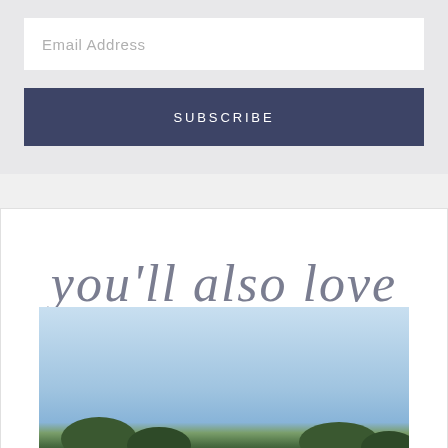Email Address
SUBSCRIBE
you'll also love
[Figure (photo): Outdoor landscape photo showing a blue sky fading into trees or hills at the bottom]